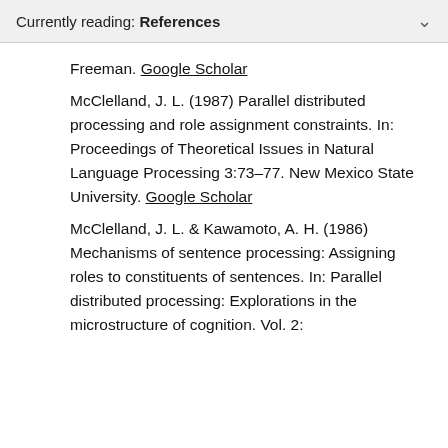Currently reading: References
Freeman. Google Scholar
McClelland, J. L. (1987) Parallel distributed processing and role assignment constraints. In: Proceedings of Theoretical Issues in Natural Language Processing 3:73–77. New Mexico State University. Google Scholar
McClelland, J. L. & Kawamoto, A. H. (1986) Mechanisms of sentence processing: Assigning roles to constituents of sentences. In: Parallel distributed processing: Explorations in the microstructure of cognition. Vol. 2: